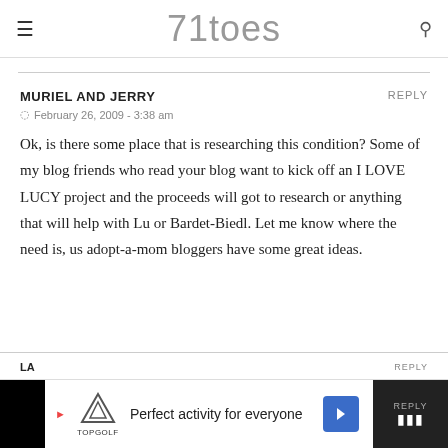71toes
MURIEL AND JERRY
February 26, 2009 - 3:38 am
Ok, is there some place that is researching this condition? Some of my blog friends who read your blog want to kick off an I LOVE LUCY project and the proceeds will got to research or anything that will help with Lu or Bardet-Biedl. Let me know where the need is, us adopt-a-mom bloggers have some great ideas.
Perfect activity for everyone Topgolf